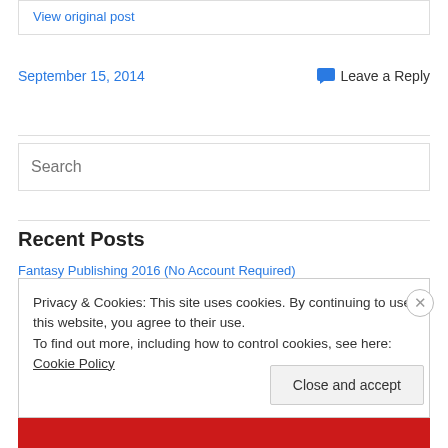View original post
September 15, 2014
Leave a Reply
Search
Recent Posts
Privacy & Cookies: This site uses cookies. By continuing to use this website, you agree to their use.
To find out more, including how to control cookies, see here: Cookie Policy
Close and accept